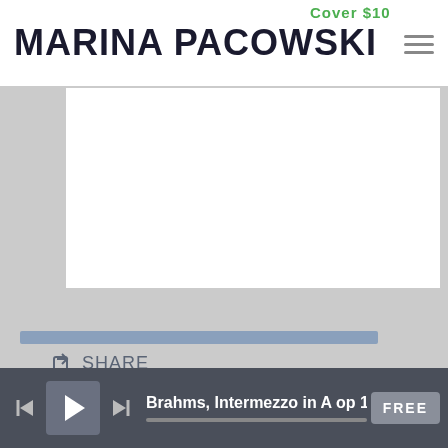MARINA PACOWSKI
Cover $10
[Figure (screenshot): White content area placeholder box]
01/27/2020
SHARE
[Figure (other): Blue progress/highlight bar]
Brahms, Intermezzo in A op 1:
FREE